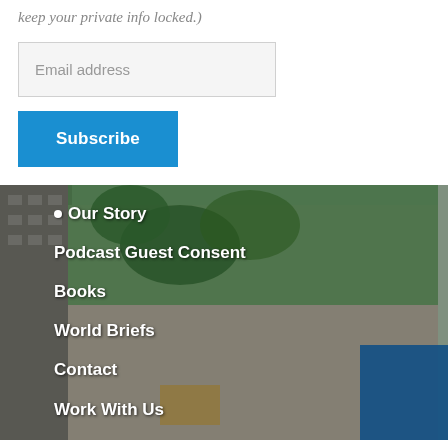keep your private info locked.)
Email address
Subscribe
[Figure (photo): Urban street scene with a tall concrete wall covered in green paint and vines, a multi-story building visible on the left with trees growing on balconies, and a blue tarp on the right side. Navigation menu links are overlaid on the image: Our Story, Podcast Guest Consent, Books, World Briefs, Contact, Work With Us.]
Our Story
Podcast Guest Consent
Books
World Briefs
Contact
Work With Us